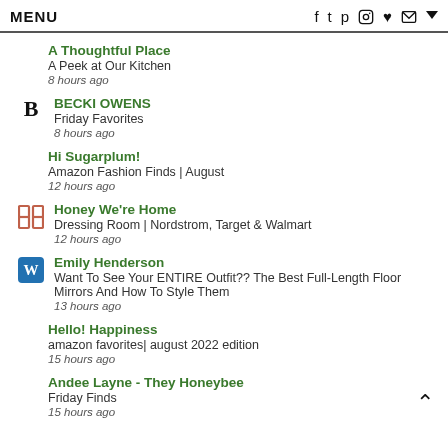MENU  f  twitter  pinterest  instagram  heart  mail  chevron
A Thoughtful Place
A Peek at Our Kitchen
8 hours ago
BECKI OWENS
Friday Favorites
8 hours ago
Hi Sugarplum!
Amazon Fashion Finds | August
12 hours ago
Honey We're Home
Dressing Room | Nordstrom, Target & Walmart
12 hours ago
Emily Henderson
Want To See Your ENTIRE Outfit?? The Best Full-Length Floor Mirrors And How To Style Them
13 hours ago
Hello! Happiness
amazon favorites| august 2022 edition
15 hours ago
Andee Layne - They Honeybee
Friday Finds
15 hours ago